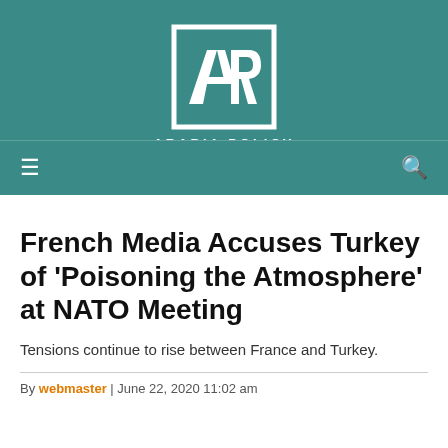[Figure (logo): Arabia Policy logo — white square outline with stylized AP monogram and text 'ARABIA POLICY' on teal background]
French Media Accuses Turkey of 'Poisoning the Atmosphere' at NATO Meeting
Tensions continue to rise between France and Turkey.
By webmaster | June 22, 2020 11:02 am